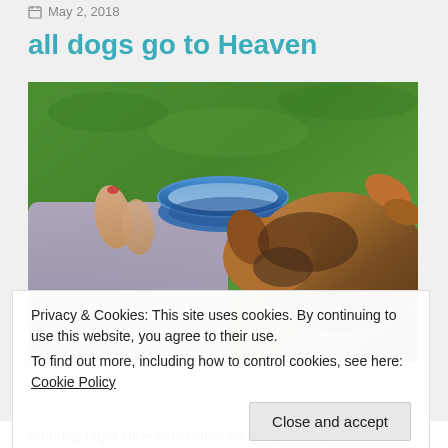May 2, 2018
all dogs go to Heaven
[Figure (photo): A person lying on green grass with bare feet, wearing a light purple/blue skirt. A blue ceramic water bowl sits nearby. A German Shepherd dog is lying beside the person on the grass.]
Privacy & Cookies: This site uses cookies. By continuing to use this website, you agree to their use.
To find out more, including how to control cookies, see here: Cookie Policy
Close and accept
Monday night Blue was much weaker, wobbly